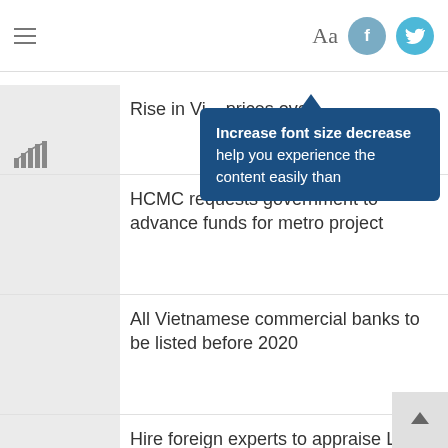Hamburger menu | Aa font size button | Facebook icon | Twitter icon
[Figure (screenshot): Tooltip popup over font-size button: 'Increase font size decrease help you experience the content easily than']
Rise in Vi... prices ove...
HCMC requests government to advance funds for metro project
All Vietnamese commercial banks to be listed before 2020
Hire foreign experts to appraise Long Thanh Airport, ministry suggests